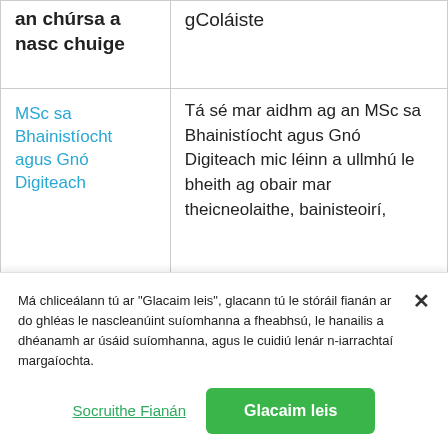| an chúrsa a
nasc chuige | gColáiste |
| MSc sa
Bhainistíocht
agus Gnó
Digiteach | Tá sé mar aidhm ag an MSc sa Bhainistíocht agus Gnó Digiteach mic léinn a ullmhú le bheith ag obair mar theicneolaithe, bainisteoirí, |
Má chliceálann tú ar "Glacaim leis", glacann tú le stóráil fianán ar do ghléas le nascleanúint suíomhanna a fheabhsú, le hanailis a dhéanamh ar úsáid suíomhanna, agus le cuidiú lenár n-iarrachtaí margaíochta.
Socruithe Fianán
Glacaim leis